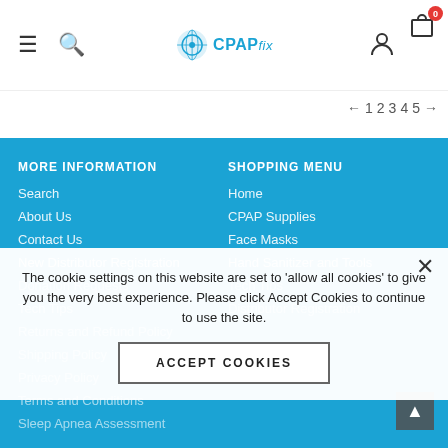CPAPfix website header with hamburger menu, search icon, logo, user icon, cart (0)
← 1 2 3 4 5 →
MORE INFORMATION
Search
About Us
Contact Us
New Distributor Registration
Donation Requests
Tech Tips
Returns and Refund Policy
Shipping Policy
Privacy Policy
Terms and Conditions
Sleep Apnea Assessment
SHOPPING MENU
Home
CPAP Supplies
Face Masks
Hand Sanitizer and Tools
Tech Tips
Distributor Registration
The cookie settings on this website are set to 'allow all cookies' to give you the very best experience. Please click Accept Cookies to continue to use the site.
ACCEPT COOKIES